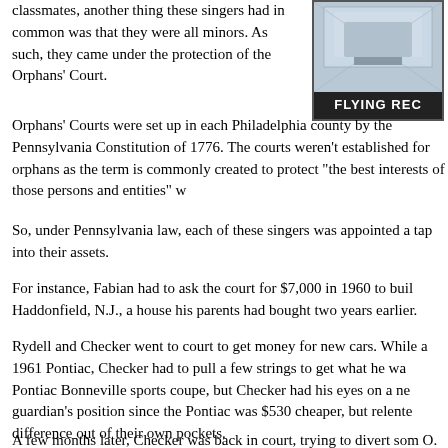classmates, another thing these singers had in common was that they were all minors. As such, they came under the protection of the Orphans' Court.
[Figure (photo): Partial view of what appears to be a record album cover or advertisement with text 'FLYING REC' visible at the bottom, showing a building or architectural image above.]
Orphans' Courts were set up in each Philadelphia county by the Pennsylvania Constitution of 1776. The courts weren't established for orphans as the term is commonly created to protect "the best interests of those persons and entities" w
So, under Pennsylvania law, each of these singers was appointed a tap into their assets.
For instance, Fabian had to ask the court for $7,000 in 1960 to buil Haddonfield, N.J., a house his parents had bought two years earlier.
Rydell and Checker went to court to get money for new cars. While a 1961 Pontiac, Checker had to pull a few strings to get what he wa Pontiac Bonneville sports coupe, but Checker had his eyes on a ne guardian's position since the Pontiac was $530 cheaper, but relente difference out of their own pockets.
A few months later, Checker was back in court, trying to divert som O. Saylor denied the request, saying that Checker's parents - Mr. a their jobs to live comfortably. At the time, Raymond Evans was ear